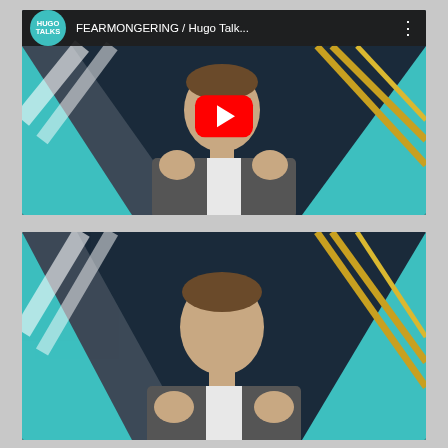[Figure (screenshot): YouTube video thumbnail showing a man in a grey speckled blazer with hands raised, sitting against a teal and dark blue diagonal stripe background. YouTube bar at top shows Hugo Talks logo circle and title 'FEARMONGERING / Hugo Talk...' with a red YouTube play button overlay in the center.]
[Figure (screenshot): Second video thumbnail showing the same man in a grey speckled blazer with hands raised, against the same teal and dark blue diagonal stripe background. No YouTube bar or play button — appears to be a still frame or second video.]